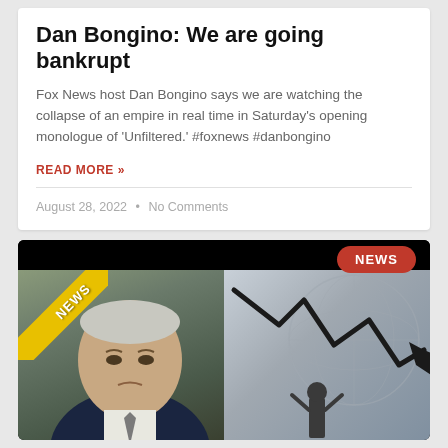Dan Bongino: We are going bankrupt
Fox News host Dan Bongino says we are watching the collapse of an empire in real time in Saturday's opening monologue of 'Unfiltered.' #foxnews #danbongino
READ MORE »
August 28, 2022  •  No Comments
[Figure (photo): Composite image with a man in a suit on the left side with a yellow NEWS ribbon banner, and on the right side a person looking at a downward trending arrow chart, with a red NEWS badge in the upper right corner.]